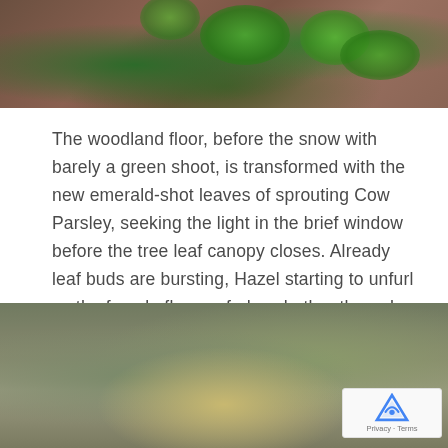[Figure (photo): Close-up photo of woodland floor with autumn leaves and bright green fern shoots visible]
The woodland floor, before the snow with barely a green shoot, is transformed with the new emerald-shot leaves of sprouting Cow Parsley, seeking the light in the brief window before the tree leaf canopy closes. Already leaf buds are bursting, Hazel starting to unfurl as the female flowers fade, whether through frosting or fertilisation, while the flower buds of Willow reveal the silky catkins, soon to become a magnet for early-emerging insects. And shining like a beacon, a clump of Orange Brain Fungus speaks of the rich array of colours coming to our woodland vista over the next few weeks....
[Figure (photo): Close-up blurred nature photo showing green and brown tones, likely a woodland plant or bud, with a reCAPTCHA privacy badge in the lower right corner]